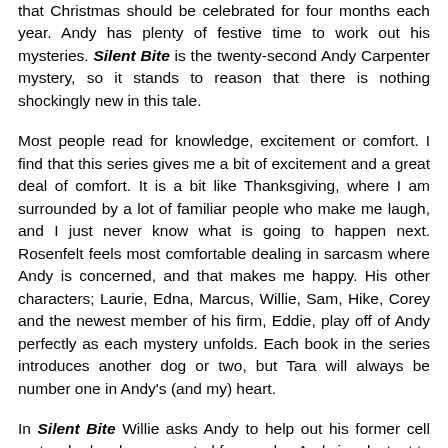that Christmas should be celebrated for four months each year. Andy has plenty of festive time to work out his mysteries. Silent Bite is the twenty-second Andy Carpenter mystery, so it stands to reason that there is nothing shockingly new in this tale.
Most people read for knowledge, excitement or comfort. I find that this series gives me a bit of excitement and a great deal of comfort. It is a bit like Thanksgiving, where I am surrounded by a lot of familiar people who make me laugh, and I just never know what is going to happen next. Rosenfelt feels most comfortable dealing in sarcasm where Andy is concerned, and that makes me happy. His other characters; Laurie, Edna, Marcus, Willie, Sam, Hike, Corey and the newest member of his firm, Eddie, play off of Andy perfectly as each mystery unfolds. Each book in the series introduces another dog or two, but Tara will always be number one in Andy's (and my) heart.
In Silent Bite Willie asks Andy to help out his former cell mate who has been arrested for murder. Andy is reluctant to do so because he would much rather be retired (he is independently wealthy so money is no issue) but has trouble saying no to Willie. The more the team investigates, the more it feels like his client is being set up, and Andy